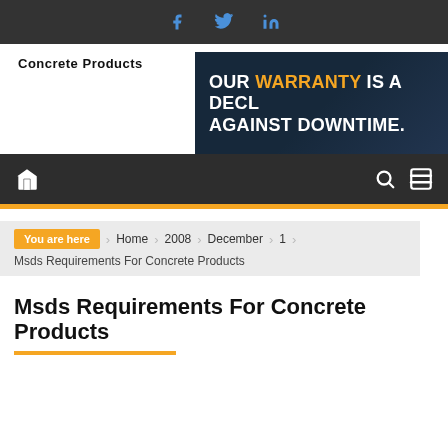Social media bar with Facebook, Twitter, LinkedIn icons
[Figure (logo): Concrete Products logo text]
[Figure (illustration): Banner advertisement: OUR WARRANTY IS A DECL... AGAINST DOWNTIME. Dark navy background with bold white and orange text.]
Navigation bar with home icon, search icon, and menu icon
You are here > Home > 2008 > December > 1 > Msds Requirements For Concrete Products
Msds Requirements For Concrete Products